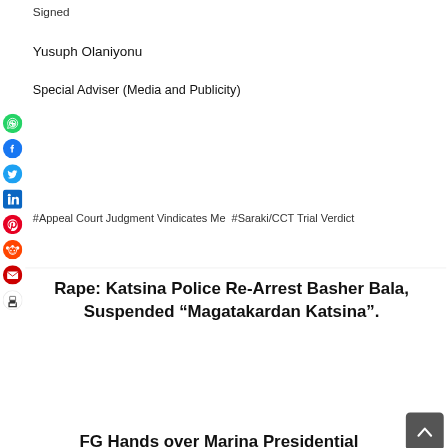Signed
Yusuph Olaniyonu
Special Adviser (Media and Publicity)
[Figure (other): Social media share icons: WhatsApp (green), Facebook (blue), Twitter (blue bird), LinkedIn (blue), Pinterest (red), Reddit (orange-red), Email (red envelope), Print (black printer)]
#Appeal Court Judgment Vindicates Me  #Saraki/CCT Trial Verdict
Rape: Katsina Police Re-Arrest Basher Bala, Suspended “Magatakardan Katsina”.
FG Hands over Marina Presidential